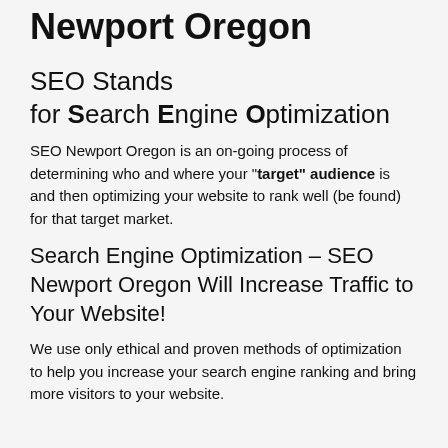Newport Oregon
SEO Stands for Search Engine Optimization
SEO Newport Oregon is an on-going process of determining who and where your "target" audience is and then optimizing your website to rank well (be found) for that target market.
Search Engine Optimization – SEO Newport Oregon Will Increase Traffic to Your Website!
We use only ethical and proven methods of optimization to help you increase your search engine ranking and bring more visitors to your website.